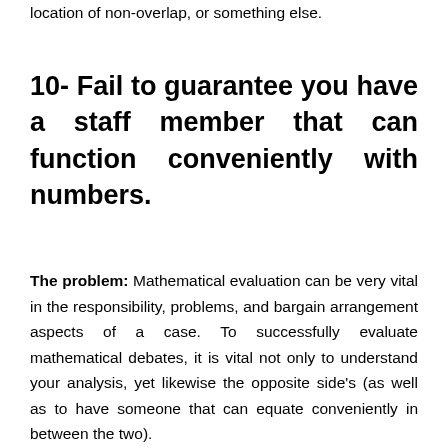location of non-overlap, or something else.
10- Fail to guarantee you have a staff member that can function conveniently with numbers.
The problem: Mathematical evaluation can be very vital in the responsibility, problems, and bargain arrangement aspects of a case. To successfully evaluate mathematical debates, it is vital not only to understand your analysis, yet likewise the opposite side's (as well as to have someone that can equate conveniently in between the two).